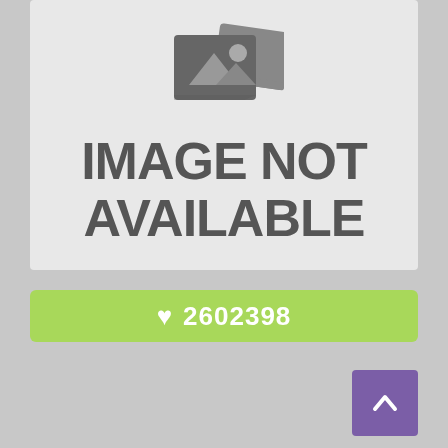[Figure (illustration): Image not available placeholder with a picture icon (mountain and sun silhouette) and text 'IMAGE NOT AVAILABLE' on a light grey background]
♥ 2602398
[Figure (other): Back to top button — purple square with a white upward chevron arrow]